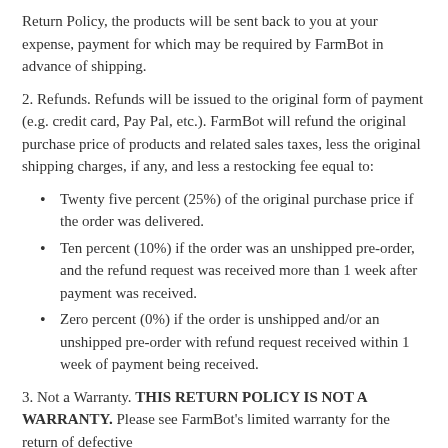Return Policy, the products will be sent back to you at your expense, payment for which may be required by FarmBot in advance of shipping.
2. Refunds. Refunds will be issued to the original form of payment (e.g. credit card, Pay Pal, etc.). FarmBot will refund the original purchase price of products and related sales taxes, less the original shipping charges, if any, and less a restocking fee equal to:
Twenty five percent (25%) of the original purchase price if the order was delivered.
Ten percent (10%) if the order was an unshipped pre-order, and the refund request was received more than 1 week after payment was received.
Zero percent (0%) if the order is unshipped and/or an unshipped pre-order with refund request received within 1 week of payment being received.
3. Not a Warranty. THIS RETURN POLICY IS NOT A WARRANTY. Please see FarmBot's limited warranty for the return of defective